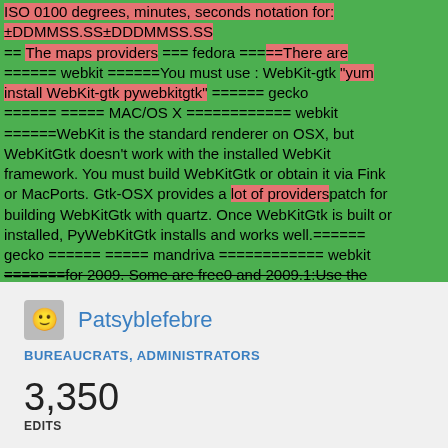ISO 0100 degrees, minutes, seconds notation for: ±DDMMSS.SS±DDDMMSS.SS == The maps providers === fedora ===== There are ====== webkit ======You must use : WebKit-gtk "yum install WebKit-gtk pywebkitgtk" ====== gecko ====== ===== MAC/OS X ============ webkit ======WebKit is the standard renderer on OSX, but WebKitGtk doesn't work with the installed WebKit framework. You must build WebKitGtk or obtain it via Fink or MacPorts. Gtk-OSX provides a lot of providerspatch for building WebKitGtk with quartz. Once WebKitGtk is built or installed, PyWebKitGtk installs and works well.====== gecko ====== ===== mandriva ============ webkit =======for 2009. Some are free0 and 2009.1:Use the
Patsyblefebre
BUREAUCRATS, ADMINISTRATORS
3,350 EDITS